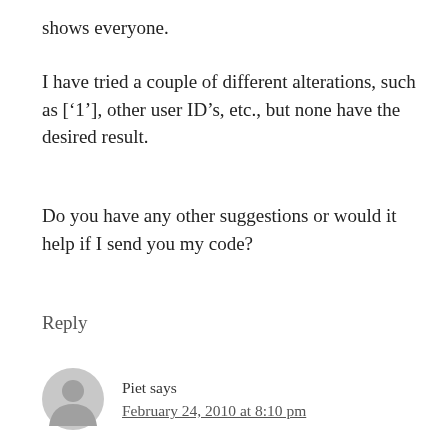shows everyone.
I have tried a couple of different alterations, such as ['1'], other user ID's, etc., but none have the desired result.
Do you have any other suggestions or would it help if I send you my code?
Reply
Piet says
February 24, 2010 at 8:10 pm